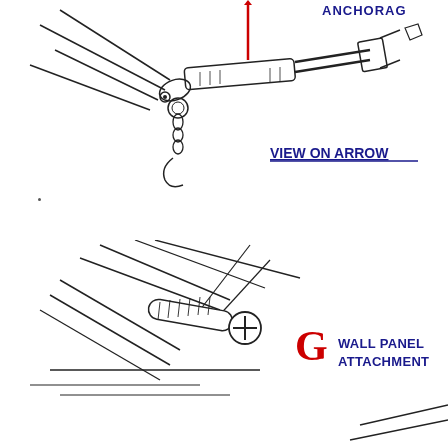[Figure (engineering-diagram): Technical engineering diagram showing an anchorage assembly with a turnbuckle/rod mechanism viewed from the side. A red vertical arrow indicates a reference direction. The label 'VIEW ON ARROW' appears in blue underlined text. Partial text 'ANCHORAGE' visible at top right.]
[Figure (engineering-diagram): Technical engineering diagram showing a wall panel attachment detail with a screw/bolt fastener through structural members. A large red letter 'G' and blue text 'WALL PANEL ATTACHMENT' label the detail.]